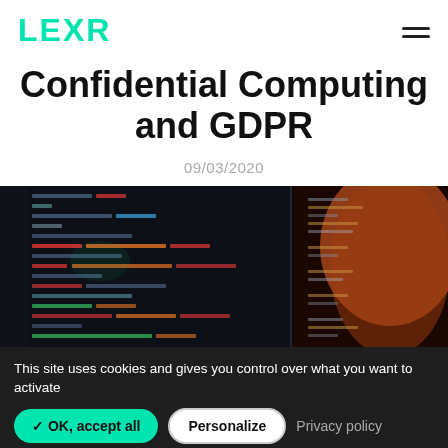LEXR
Confidential Computing and GDPR
09/03/2020
[Figure (photo): Dark background showing code on a computer screen with colorful syntax highlighting, and a blurred silhouette of a person's head on the right side.]
This site uses cookies and gives you control over what you want to activate
✓ OK, accept all | Personalize | Privacy policy